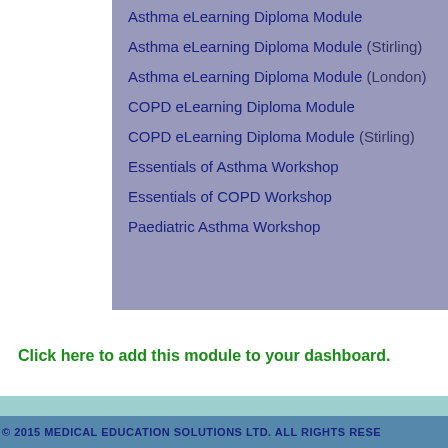Asthma eLearning Diploma Module
Asthma eLearning Diploma Module (Stirling)
Asthma eLearning Diploma Module (London)
COPD eLearning Diploma Module
COPD eLearning Diploma Module (Stirling)
Essentials of Asthma Workshop
Essentials of COPD Workshop
Paediatric Asthma Workshop
Click here to add this module to your dashboard.
© 2015 MEDICAL EDUCATION SOLUTIONS LTD. ALL RIGHTS RESERVED